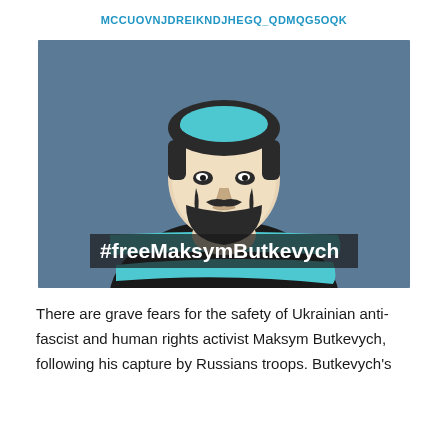MCCUOVNJDREIKNDJHEGQ_QDMQG5OQK
[Figure (illustration): Stylized graphic illustration of Maksym Butkevych — a man's face with beard and short hair rendered in high-contrast black and white against a muted steel-blue background. He is wrapped in a black garment with cyan/turquoise brush-stroke stripes. White bold text overlaid reads '#freeMaksymButkevych'.]
There are grave fears for the safety of Ukrainian anti-fascist and human rights activist Maksym Butkevych, following his capture by Russians troops. Butkevych's